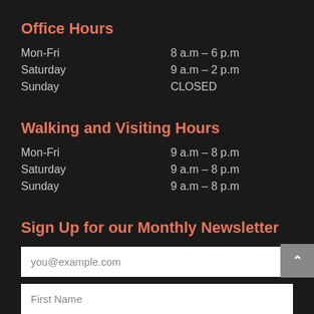Office Hours
| Mon-Fri | 8 a.m – 6 p.m |
| Saturday | 9 a.m – 2 p.m |
| Sunday | CLOSED |
Walking and Visiting Hours
| Mon-Fri | 9 a.m – 8 p.m |
| Saturday | 9 a.m – 8 p.m |
| Sunday | 9 a.m – 8 p.m |
Sign Up for our Monthly Newsletter
you@example.com
First Name
Last Name